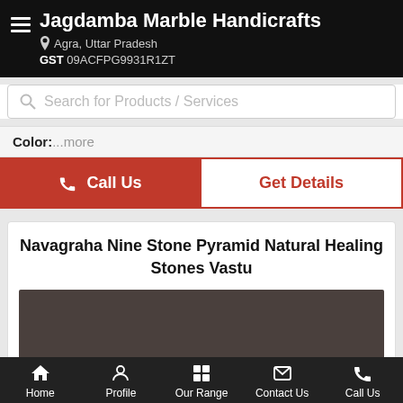Jagdamba Marble Handicrafts
Agra, Uttar Pradesh
GST 09ACFPG9931R1ZT
Search for Products / Services
Color:...more
Call Us
Get Details
Navagraha Nine Stone Pyramid Natural Healing Stones Vastu
[Figure (photo): Product image placeholder — dark brownish-grey rectangle representing a product photo area]
Home  Profile  Our Range  Contact Us  Call Us